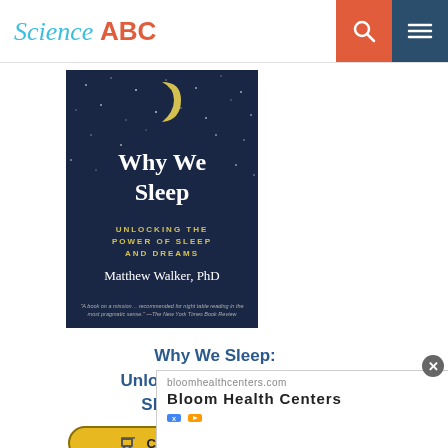Science ABC
[Figure (photo): Book cover of 'Why We Sleep: Unlocking the Power of Sleep and Dreams' by Matthew Walker, PhD. Dark blue starry background with a crescent moon.]
Why We Sleep: Unlocking the Power of Sleep and Dreams
[Figure (other): Check on Amazon button with shopping cart icon]
[Figure (other): Advertisement overlay: bloomhealthcenters.com - Bloom Health Centers with close button and ad icons]